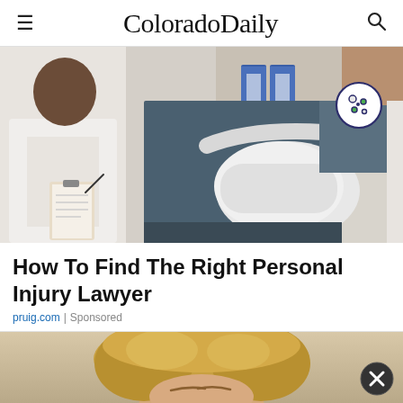ColoradoDaily
[Figure (photo): A doctor in a white coat consulting with a patient who has their arm in a sling, with blue binders visible on shelves in the background. The doctor is holding a clipboard.]
How To Find The Right Personal Injury Lawyer
pruig.com | Sponsored
[Figure (photo): Partial view of a woman with blonde hair, top of head visible, appearing to be a cropped advertisement image.]